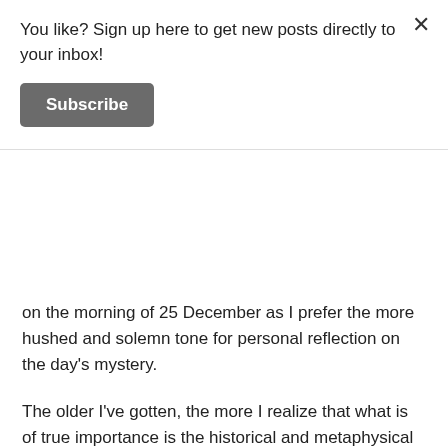You like? Sign up here to get new posts directly to your inbox!
Subscribe
on the morning of 25 December as I prefer the more hushed and solemn tone for personal reflection on the day's mystery.
The older I've gotten, the more I realize that what is of true importance is the historical and metaphysical reality we're presented with during Nativity. Namely in that the very God became as one of us by partaking of our humanity (whilst preserving His divinity hypostatically), and radically elevated what it means to be human. Whether from East, or West, from eternity was the nation of Israel chosen as the center of the World to draw man to His center. To call man to a new way of being by means of participation in